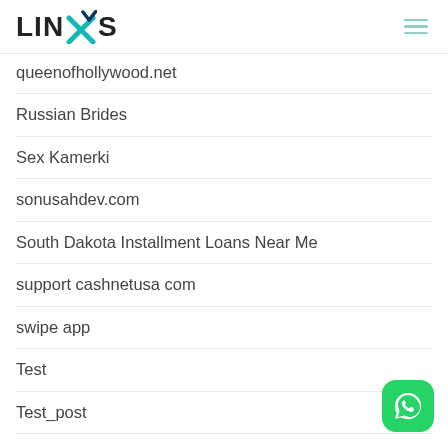LINXIS
queenofhollywood.net
Russian Brides
Sex Kamerki
sonusahdev.com
South Dakota Installment Loans Near Me
support cashnetusa com
swipe app
Test
Test_post
Titlemax Interest Rate
top brides
top hookup apps 2018
trading forex
Trading platform